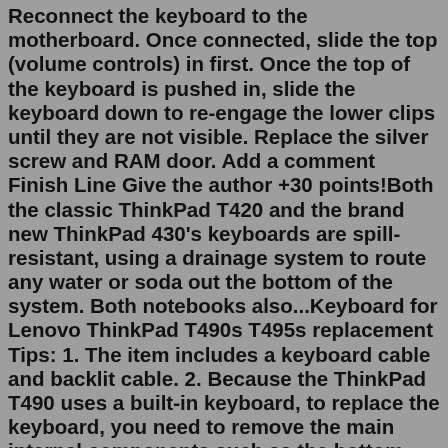Reconnect the keyboard to the motherboard. Once connected, slide the top (volume controls) in first. Once the top of the keyboard is pushed in, slide the keyboard down to re-engage the lower clips until they are not visible. Replace the silver screw and RAM door. Add a comment Finish Line Give the author +30 points!Both the classic ThinkPad T420 and the brand new ThinkPad 430's keyboards are spill-resistant, using a drainage system to route any water or soda out the bottom of the system. Both notebooks also...Keyboard for Lenovo ThinkPad T490s T495s replacement Tips: 1. The item includes a keyboard cable and backlit cable. 2. Because the ThinkPad T490 uses a built-in keyboard, to replace the keyboard, you need to remove the main internal components such as the bottom cover and motherboard. This replacement work takes a long time and many processes ...Find the original on amazon:https://amzn.to/38TVkEOSupport this channel -By using our amazon affiliate link:https://amzn.to/2RzKspLOr look at some hand